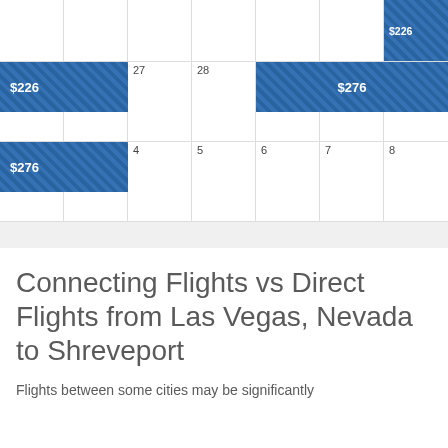| Sun | Mon | Tue | Wed | Thu | Fri | Sat |
| --- | --- | --- | --- | --- | --- | --- |
|  |  |  |  |  |  | $226 |
| 25 $226 | 26 | 27 | 28 | 29 $276 | 30 | 1 |
| 2 $276 | 3 | 4 | 5 | 6 | 7 | 8 |
Connecting Flights vs Direct Flights from Las Vegas, Nevada to Shreveport
Flights between some cities may be significantly